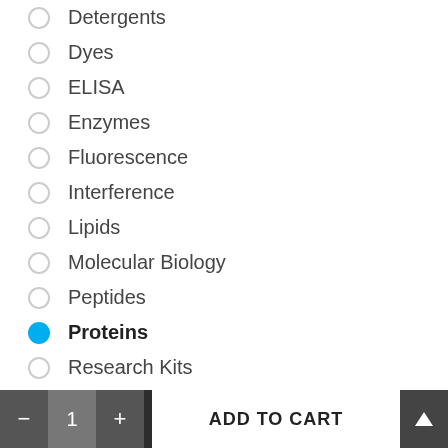Detergents
Dyes
ELISA
Enzymes
Fluorescence
Interference
Lipids
Molecular Biology
Peptides
Proteins
Research Kits
SARS-CoV-2
Serum & Plasma
- 1 + ADD TO CART